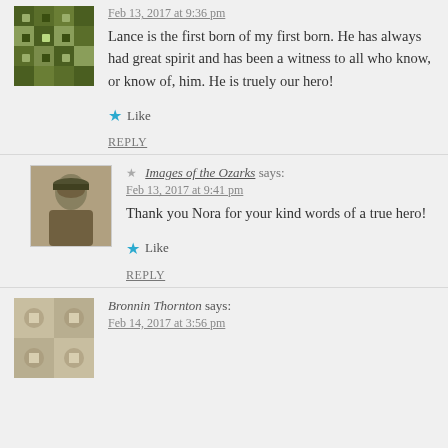Feb 13, 2017 at 9:36 pm
Lance is the first born of my first born. He has always had great spirit and has been a witness to all who know, or know of, him. He is truely our hero!
Like
REPLY
Images of the Ozarks says:
Feb 13, 2017 at 9:41 pm
Thank you Nora for your kind words of a true hero!
Like
REPLY
Bronnin Thornton says:
Feb 14, 2017 at 3:56 pm